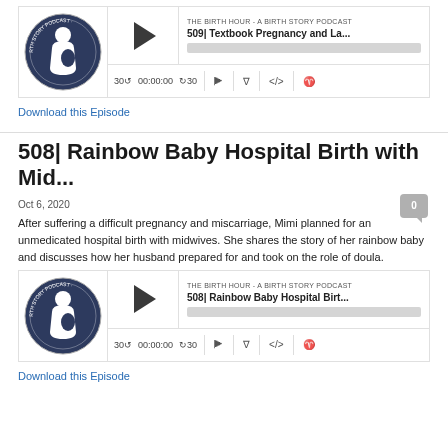[Figure (screenshot): Podcast player widget for episode 509 - Textbook Pregnancy and La... by The Birth Hour - A Birth Story Podcast, showing play button, progress bar, and controls]
Download this Episode
508| Rainbow Baby Hospital Birth with Mid...
Oct 6, 2020
After suffering a difficult pregnancy and miscarriage, Mimi planned for an unmedicated hospital birth with midwives. She shares the story of her rainbow baby and discusses how her husband prepared for and took on the role of doula.
[Figure (screenshot): Podcast player widget for episode 508 - Rainbow Baby Hospital Birt... by The Birth Hour - A Birth Story Podcast, showing play button, progress bar, and controls]
Download this Episode